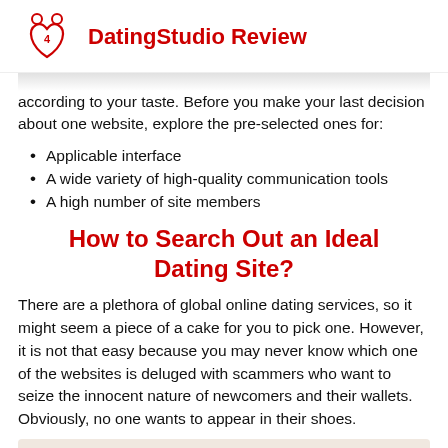DatingStudio Review
according to your taste. Before you make your last decision about one website, explore the pre-selected ones for:
Applicable interface
A wide variety of high-quality communication tools
A high number of site members
How to Search Out an Ideal Dating Site?
There are a plethora of global online dating services, so it might seem a piece of a cake for you to pick one. However, it is not that easy because you may never know which one of the websites is deluged with scammers who want to seize the innocent nature of newcomers and their wallets. Obviously, no one wants to appear in their shoes.
[Figure (photo): Strip of three photos of people, partially visible at bottom of page]